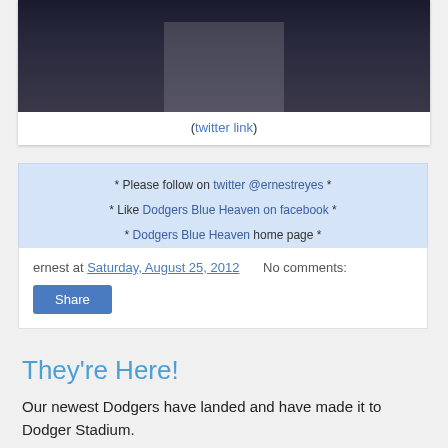[Figure (photo): Partial photo showing people in white pants/uniforms from the waist down, dark background]
(twitter link)
* Please follow on twitter @ernestreyes *
* Like Dodgers Blue Heaven on facebook *
* Dodgers Blue Heaven home page *
ernest at Saturday, August 25, 2012    No comments:
Share
They're Here!
Our newest Dodgers have landed and have made it to Dodger Stadium.